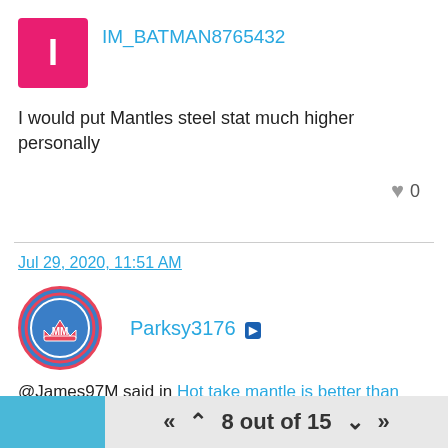IM_BATMAN8765432
I would put Mantles steel stat much higher personally
♥ 0
Jul 29, 2020, 11:51 AM
[Figure (illustration): Circular avatar with pink border, blue background, crown with MM initials logo for user Parksy3176]
Parksy3176 [PS]
@James97M said in Hot take mantle is better than trout:
You think so?
8 out of 15